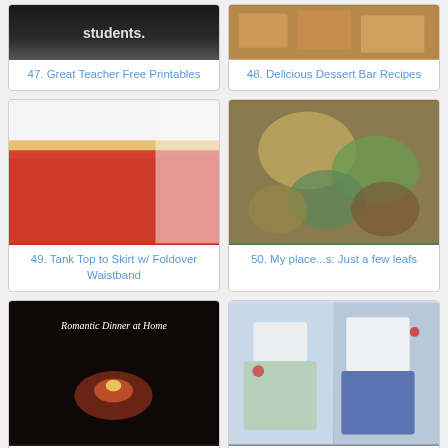[Figure (photo): Chalkboard image with text about students]
47. Great Teacher Free Printables
[Figure (photo): Dessert bar recipes food photo]
48. Delicious Dessert Bar Recipes
[Figure (photo): Red skirt with foldover waistband worn by person]
49. Tank Top to Skirt w/ Foldover Waistband
[Figure (photo): Crocheted leaf decorations on table]
50. My place...s: Just a few leafs
[Figure (photo): Dark romantic dinner at home with candles]
51. Make that Special meal a memory for $4
[Figure (photo): Children wearing Cloud9 Wildwood Pajamas]
52. Cloud9 Wildwood Pajamas